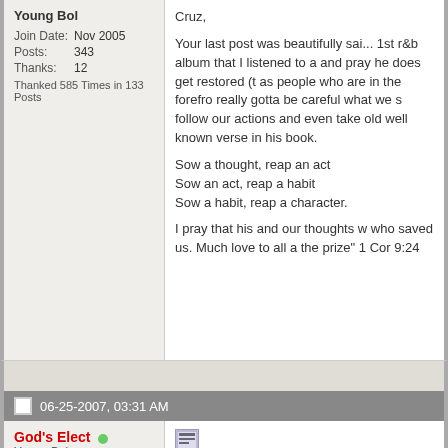Young Bol
Join Date: Nov 2005
Posts: 343
Thanks: 12
Thanked 585 Times in 133 Posts
Cruz,

Your last post was beautifully said... 1st r&b album that I listened to a... and pray he does get restored (t... as people who are in the forefron... really gotta be careful what we s... follow our actions and even take... old well known verse in his book...

Sow a thought, reap an act
Sow an act, reap a habit
Sow a habit, reap a character.

I pray that his and our thoughts w... who saved us. Much love to all a... the prize" 1 Cor 9:24
06-25-2007, 03:31 AM
God's Elect
Young Bol
Wade O, brotha I just thank God... reaching out to brotha Tonex. Lo... great work for you fam!! More to... trial season, it will pass, deff wi...